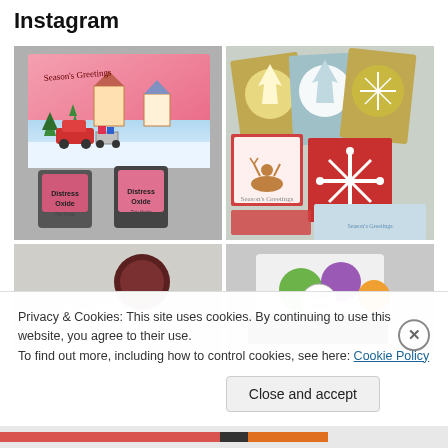Instagram
[Figure (photo): Christmas card featuring a red car with a Christmas tree on top, houses in snow, and two Distress Oxide ink pads in pink/red tones on a gray background]
[Figure (photo): Collection of Christmas cards with snowflake, Christmas tree, and reindeer designs in gold, white, red, and blue on a light background]
[Figure (photo): Partially visible image showing crafting supplies with a dark circular object on white background]
[Figure (photo): Partially visible image showing crafting supplies including ink pads with colorful circles]
Privacy & Cookies: This site uses cookies. By continuing to use this website, you agree to their use.
To find out more, including how to control cookies, see here: Cookie Policy
Close and accept